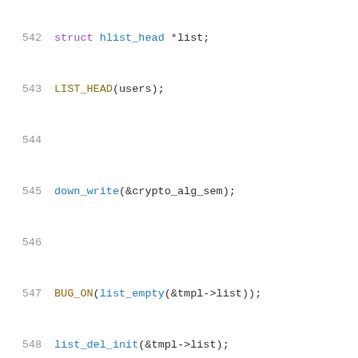[Figure (screenshot): Source code listing showing lines 542-563 of a C file, with syntax highlighting. Line numbers in gray on the left, code in multiple colors (purple for keywords, blue for function names, olive for macros, black for operators/punctuation).]